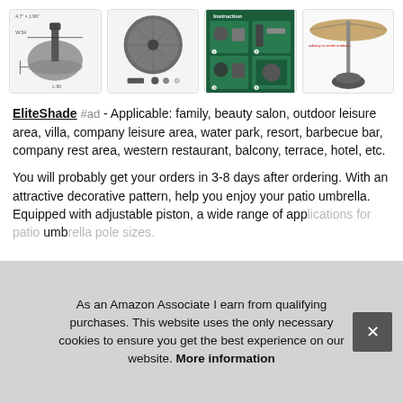[Figure (photo): Four product images of umbrella base: dimensions diagram, parts/components, instruction guide, and full umbrella setup]
EliteShade #ad - Applicable: family, beauty salon, outdoor leisure area, villa, company leisure area, water park, resort, barbecue bar, company rest area, western restaurant, balcony, terrace, hotel, etc.
You will probably get your orders in 3-8 days after ordering. With an attractive decorative pattern, help you enjoy your patio umbrella. Equipped with adjustable piston, a wide range of app... umb...
As an Amazon Associate I earn from qualifying purchases. This website uses the only necessary cookies to ensure you get the best experience on our website. More information